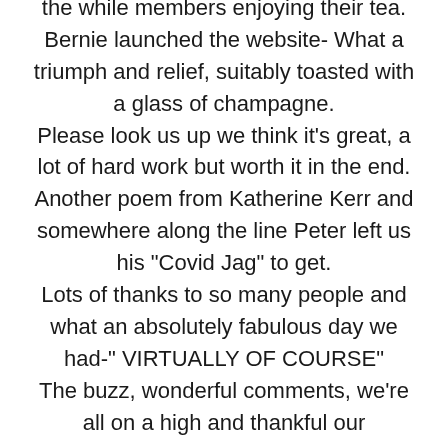the while members enjoying their tea. Bernie launched the website- What a triumph and relief, suitably toasted with a glass of champagne. Please look us up we think it's great, a lot of hard work but worth it in the end. Another poem from Katherine Kerr and somewhere along the line Peter left us his "Covid Jag" to get. Lots of thanks to so many people and what an absolutely fabulous day we had-" VIRTUALLY OF COURSE" The buzz, wonderful comments, we're all on a high and thankful our